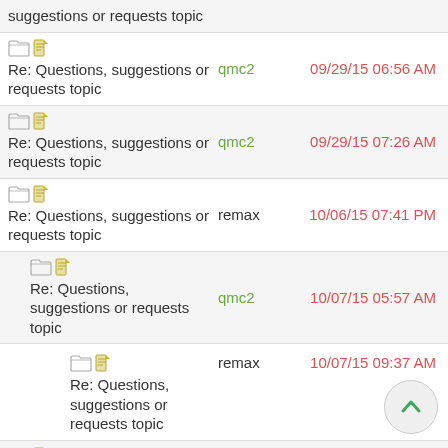suggestions or requests topic | (top cut off) | date cut off
Re: Questions, suggestions or requests topic | qmc2 | 09/29/15 06:56 AM
Re: Questions, suggestions or requests topic | qmc2 | 09/29/15 07:26 AM
Re: Questions, suggestions or requests topic | remax | 10/06/15 07:41 PM
Re: Questions, suggestions or requests topic | qmc2 | 10/07/15 05:57 AM
Re: Questions, suggestions or requests topic | remax | 10/07/15 09:37 AM
Re: Questions, suggestions or requests topic | qmc2 | 10/07/15 09:50 AM
Re: Questions, suggestions or requests topic | remax | 10/07/15 10:12 AM
Re: Questions, suggestions or requests topic | remax | 10/07/15 10:22 AM
Re: Questions, | qmc2 | 10/07/15 10:35 AM